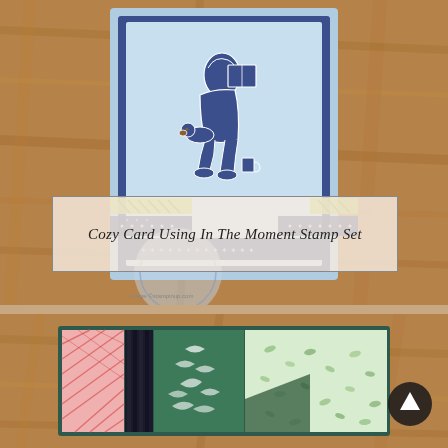[Figure (photo): Handmade greeting card on wood background featuring a stamped image of a person reading with a dog, decorated with colorful washi tape strips in green, navy blue with stars/dots patterns, on a light blue card base with a navy blue scallop-edged panel.]
Cozy Card Using In The Moment Stamp Set
[Figure (photo): Close-up photo on wood background showing a decorative slim card/bookmark with patterned paper strips in pink, green, and leafy patterns, held together with a dark velvet or fabric ribbon/band.]